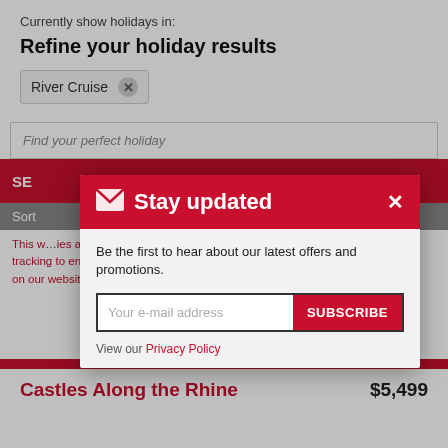Currently show holidays in:
Refine your holiday results
River Cruise  ×
Find your perfect holiday
SE
Sort
This w...ies and Google Analy... tracking to ensure you get the best experience on our website. Learn more
12
Got it!
Castles Along the Rhine
$5,499
[Figure (screenshot): Modal popup with red header containing envelope icon and 'Stay updated' title with close X button, body text 'Be the first to hear about our latest offers and promotions.', email input field with placeholder 'Your e-mail address', red SUBSCRIBE button, and 'View our Privacy Policy' link.]